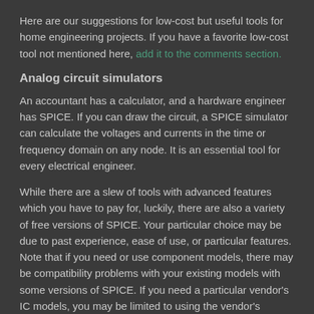Here are our suggestions for low-cost but useful tools for home engineering projects. If you have a favorite low-cost tool not mentioned here, add it to the comments section.
Analog circuit simulators
An accountant has a calculator, and a hardware engineer has SPICE. If you can draw the circuit, a SPICE simulator can calculate the voltages and currents in the time or frequency domain on any node. It is an essential tool for every electrical engineer.
While there are a slew of tools with advanced features which you have to pay for, luckily, there are also a variety of free versions of SPICE. Your particular choice may be due to past experience, ease of use, or particular features.  Note that if you need or use component models, there may be compatibility problems with your existing models with some versions of SPICE. If you need a particular vendor's IC models, you may be limited to using the vendor's version of SPICE.